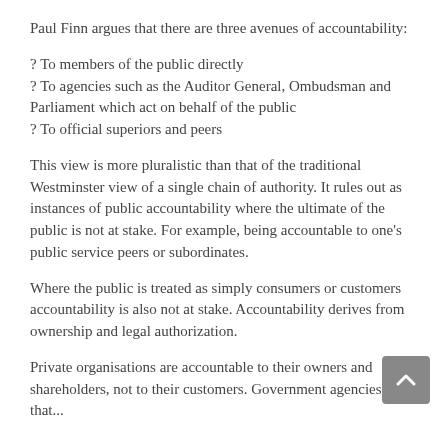Paul Finn argues that there are three avenues of accountability:
? To members of the public directly
? To agencies such as the Auditor General, Ombudsman and Parliament which act on behalf of the public
? To official superiors and peers
This view is more pluralistic than that of the traditional Westminster view of a single chain of authority. It rules out as instances of public accountability where the ultimate of the public is not at stake. For example, being accountable to one's public service peers or subordinates.
Where the public is treated as simply consumers or customers accountability is also not at stake. Accountability derives from ownership and legal authorization.
Private organisations are accountable to their owners and shareholders, not to their customers. Government agencies that...